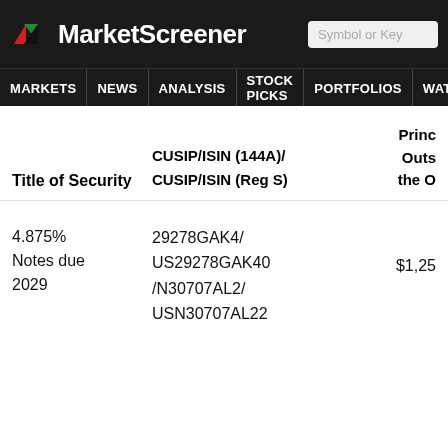MarketScreener | MARKETS NEWS ANALYSIS STOCK PICKS PORTFOLIOS WATCHLI
| Title of Security | CUSIP/ISIN (144A)/ CUSIP/ISIN (Reg S) | Princ Outs the O |
| --- | --- | --- |
| 4.875% Notes due 2029 | 29278GAK4/ US29278GAK40 /N30707AL2/ USN30707AL22 | $1,25 |